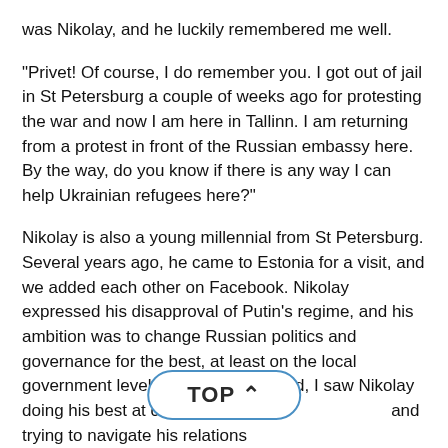was Nikolay, and he luckily remembered me well.
"Privet! Of course, I do remember you. I got out of jail in St Petersburg a couple of weeks ago for protesting the war and now I am here in Tallinn. I am returning from a protest in front of the Russian embassy here. By the way, do you know if there is any way I can help Ukrainian refugees here?"
Nikolay is also a young millennial from St Petersburg. Several years ago, he came to Estonia for a visit, and we added each other on Facebook. Nikolay expressed his disapproval of Putin's regime, and his ambition was to change Russian politics and governance for the best, at least on the local government level. Years have passed, I saw Nikolay doing his best at competing a and trying to navigate his relations democratic forces in his country. I felt proud of him.